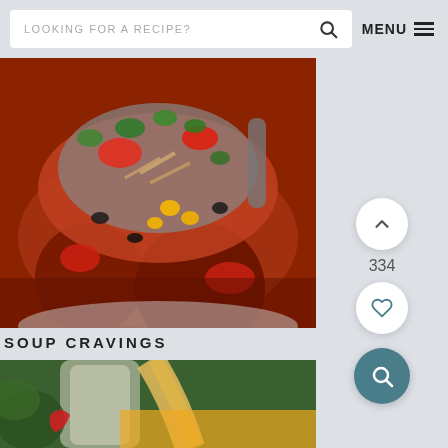LOOKING FOR A RECIPE? [search icon] MENU ≡
[Figure (photo): Close-up photo of a ladle scooping a hearty soup or stew with chicken, tomatoes, corn, black beans, and fresh cilantro]
SOUP CRAVINGS
[Figure (photo): Photo of a glass jar pouring broth/liquid into a bowl with vegetables and garnishes]
[Figure (infographic): Right panel with vote up button (chevron), vote count 334, heart/save button, and teal search button]